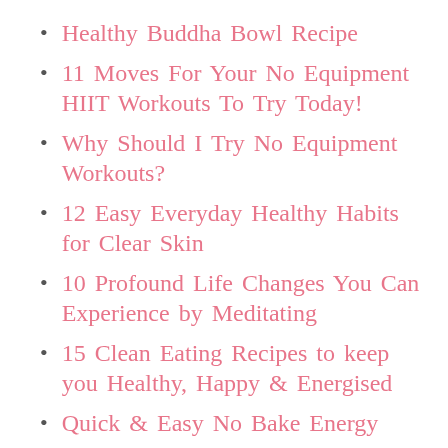Healthy Buddha Bowl Recipe
11 Moves For Your No Equipment HIIT Workouts To Try Today!
Why Should I Try No Equipment Workouts?
12 Easy Everyday Healthy Habits for Clear Skin
10 Profound Life Changes You Can Experience by Meditating
15 Clean Eating Recipes to keep you Healthy, Happy & Energised
Quick & Easy No Bake Energy